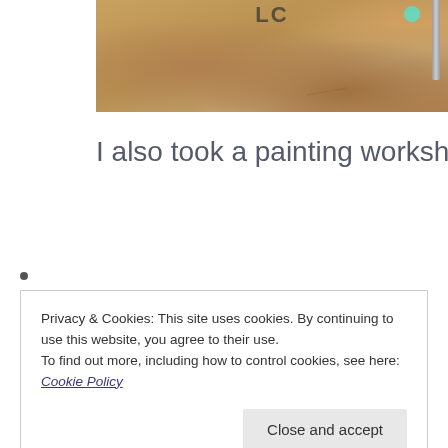[Figure (photo): Partial photo of a sandy/concrete floor surface with a teal dot and metal leg visible, appearing to be a cropped bottom portion of a larger image]
I also took a painting workshop at a lo
•
Privacy & Cookies: This site uses cookies. By continuing to use this website, you agree to their use.
To find out more, including how to control cookies, see here: Cookie Policy
Close and accept